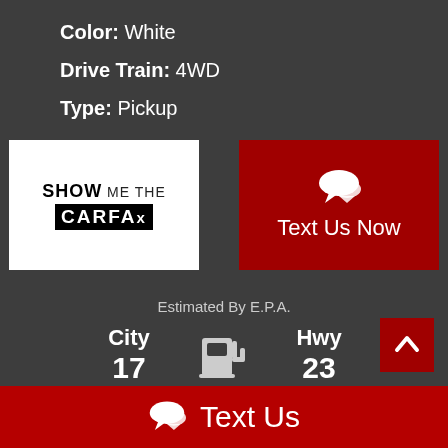Color: White
Drive Train: 4WD
Type: Pickup
[Figure (logo): Show Me The CarFax logo - white background with bold 'SHOW ME THE' text above 'CARFAX' in a black box]
[Figure (other): Red button with chat bubble icon and 'Text Us Now' label]
Estimated By E.P.A.
City 17
[Figure (other): Fuel pump icon]
Hwy 23
Actual Mileage May Vary
[Figure (other): Red scroll-to-top button with up chevron arrow]
Text Us